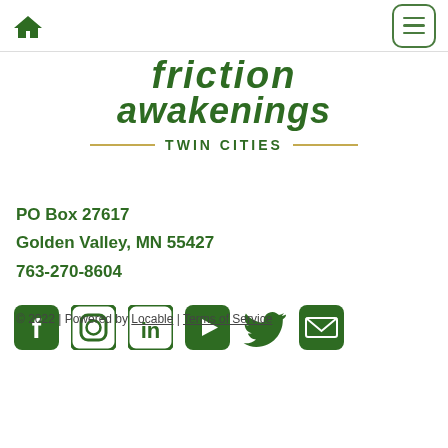[Figure (logo): Navigation bar with home icon and hamburger menu button]
[Figure (logo): Friction Awakenings Twin Cities logo with decorative lines]
PO Box 27617
Golden Valley, MN 55427
763-270-8604
[Figure (infographic): Social media icons: Facebook, Instagram, LinkedIn, YouTube, Twitter, Email]
© 2022 | Powered by Locable | Terms of Service